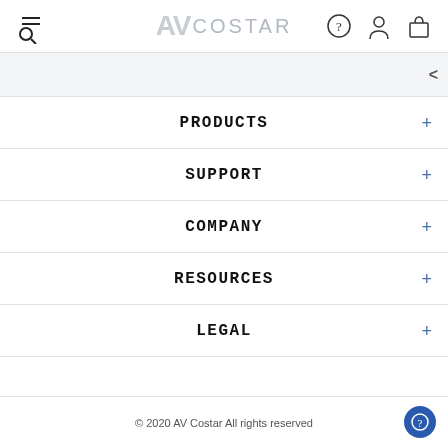[Figure (logo): AV Costar logo with hamburger/search icon on left and help, user, cart icons on right]
PRODUCTS +
SUPPORT +
COMPANY +
RESOURCES +
LEGAL +
© 2020 AV Costar All rights reserved